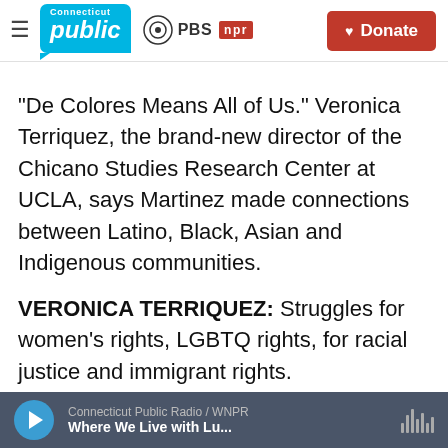[Figure (screenshot): Connecticut Public / PBS / NPR logo header with Donate button]
"De Colores Means All of Us." Veronica Terriquez, the brand-new director of the Chicano Studies Research Center at UCLA, says Martinez made connections between Latino, Black, Asian and Indigenous communities.
VERONICA TERRIQUEZ: Struggles for women's rights, LGBTQ rights, for racial justice and immigrant rights.
DEL BARCO: Activist scholar Angela Davis paid tribute to Martinez in that 2008 award
[Figure (screenshot): Audio player bar: Connecticut Public Radio / WNPR — Where We Live with Lu...]